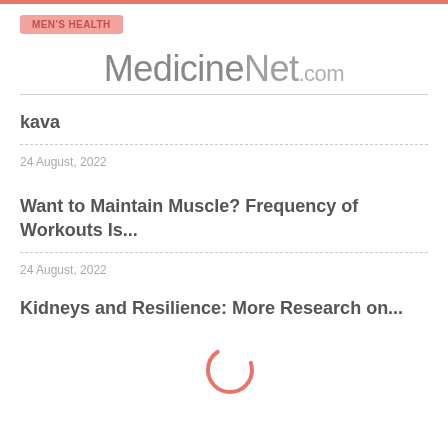MEN'S HEALTH
MedicineNet.com
kava
24 August, 2022
Want to Maintain Muscle? Frequency of Workouts Is...
24 August, 2022
[Figure (other): Loading spinner (C-shaped arc in salmon/coral color)]
Kidneys and Resilience: More Research on...